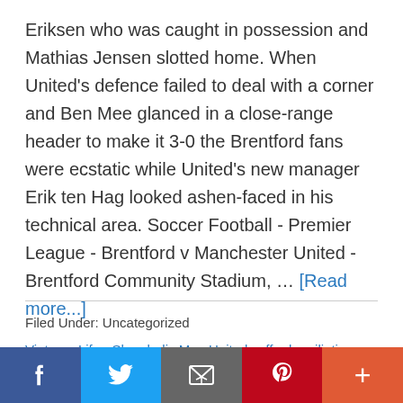Eriksen who was caught in possession and Mathias Jensen slotted home. When United's defence failed to deal with a corner and Ben Mee glanced in a close-range header to make it 3-0 the Brentford fans were ecstatic while United's new manager Erik ten Hag looked ashen-faced in his technical area. Soccer Football - Premier League - Brentford v Manchester United - Brentford Community Stadium, ... [Read more...]
Filed Under: Uncategorized
Vietnam Life - Shambolic Man United suffer humiliating